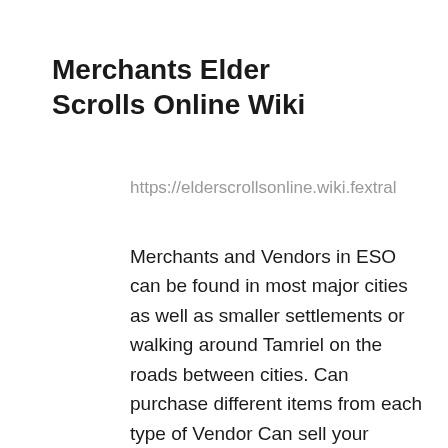Merchants Elder Scrolls Online Wiki
https://elderscrollsonline.wiki.fextral
Merchants and Vendors in ESO can be found in most major cities as well as smaller settlements or walking around Tamriel on the roads between cities. Can purchase different items from each type of Vendor Can sell your unwanted loot Will repair